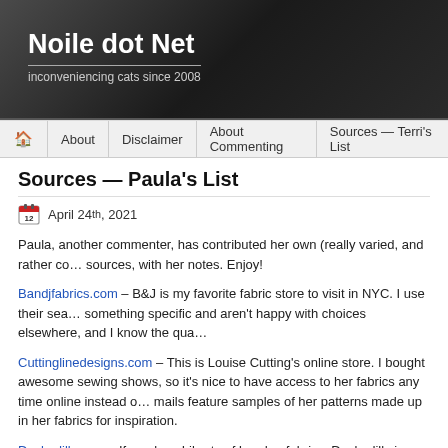Noile dot Net — inconveniencing cats since 2008
About | Disclaimer | About Commenting | Sources — Terri's List
Sources — Paula's List
April 24th, 2021
Paula, another commenter, has contributed her own (really varied, and rather co... sources, with her notes. Enjoy!
Bandjfabrics.com – B&J is my favorite fabric store to visit in NYC. I use their sea... something specific and aren't happy with choices elsewhere, and I know the qua...
Cuttinglinedesigns.com – This is Louise Cutting's online store. I bought awesome sewing shows, so it's nice to have access to her fabrics any time online instead o... mails feature samples of her patterns made up in her fabrics for inspiration.
Duckadilly.com – If you love Liberty of London fabrics, Duckadilly in Michigan is a... Liberty bias binding by the yard and the assortment packs. I bought one of the pa... boiled wool coat.
Elliottbermantextiles.com – I'm on their marketing list and get seduced into purch...